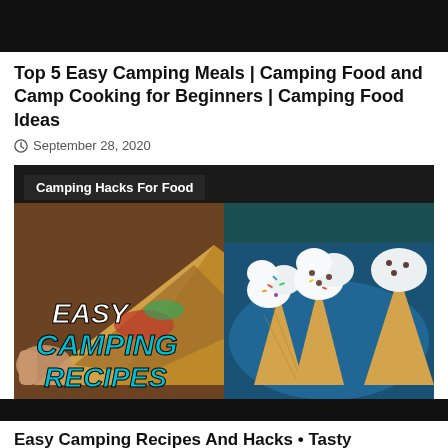[Figure (screenshot): Black top bar (video player top area)]
Top 5 Easy Camping Meals | Camping Food and Camp Cooking for Beginners | Camping Food Ideas
September 28, 2020
[Figure (photo): Thumbnail image showing camping food recipes: a quesadilla being held on the left and ice cream cones with marshmallows and sprinkles on the right. Text overlay reads 'EASY CAMPING RECIPES'. Banner at top reads 'Camping Hacks For Food'.]
[Figure (screenshot): Black bottom bar (video player bottom area)]
Easy Camping Recipes And Hacks • Tasty